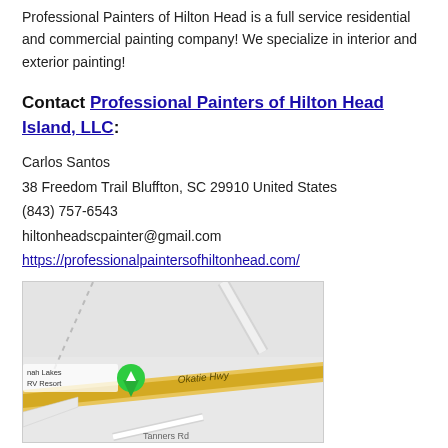Professional Painters of Hilton Head is a full service residential and commercial painting company! We specialize in interior and exterior painting!
Contact Professional Painters of Hilton Head Island, LLC:
Carlos Santos
38 Freedom Trail Bluffton, SC 29910 United States
(843) 757-6543
hiltonheadscpainter@gmail.com
https://professionalpaintersofhiltonhead.com/
[Figure (map): Google map showing location near Savannah Lakes RV Resort on Okatie Hwy, Bluffton SC area. Shows road layout with tan/yellow highway (Okatie Hwy) and Tanners Road visible.]